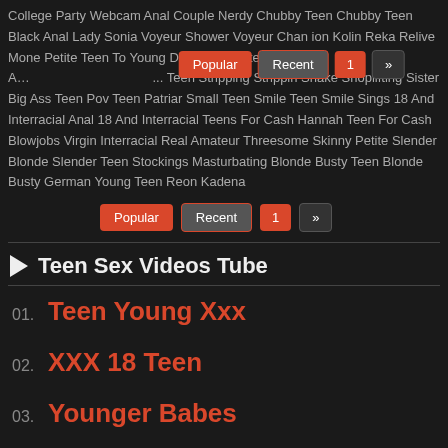College Party Webcam Anal Couple Nerdy Chubby Teen Chubby Teen Black Anal Lady Sonia Voyeur Shower Voyeur Chan... Popular Recent 1 » Teen To Young Daddy Daughter Daddy A... Teen Stripping Strippin Shake Shoplifting Sister Big Ass Teen Pov Teen Patriar Small Teen Smile Teen Smile Sings 18 And Interracial Anal 18 And Interracial Teens For Cash Hannah Teen For Cash Blowjobs Virgin Interracial Real Amateur Threesome Skinny Petite Slender Blonde Slender Teen Stockings Masturbating Blonde Busty Teen Blonde Busty German Young Teen Reon Kadena
► Teen Sex Videos Tube
01. Teen Young Xxx
02. XXX 18 Teen
03. Younger Babes
04. Youporn
05. Young Teenage